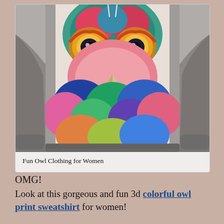[Figure (photo): A gray hoodie/sweatshirt featuring a colorful owl face print on the front, with large yellow and blue eyes, multicolored feathers in orange, red, pink, green, blue tones, and a beak visible in the center.]
Fun Owl Clothing for Women
OMG!
Look at this gorgeous and fun 3d colorful owl print sweatshirt for women!